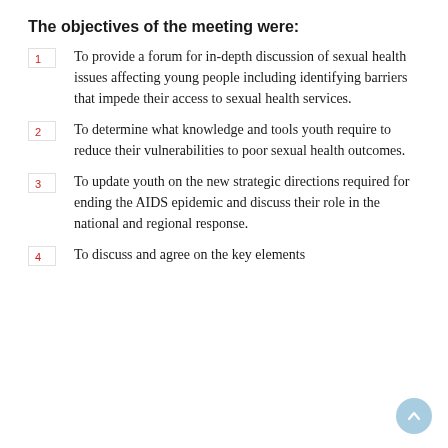The objectives of the meeting were:
To provide a forum for in-depth discussion of sexual health issues affecting young people including identifying barriers that impede their access to sexual health services.
To determine what knowledge and tools youth require to reduce their vulnerabilities to poor sexual health outcomes.
To update youth on the new strategic directions required for ending the AIDS epidemic and discuss their role in the national and regional response.
To discuss and agree on the key elements